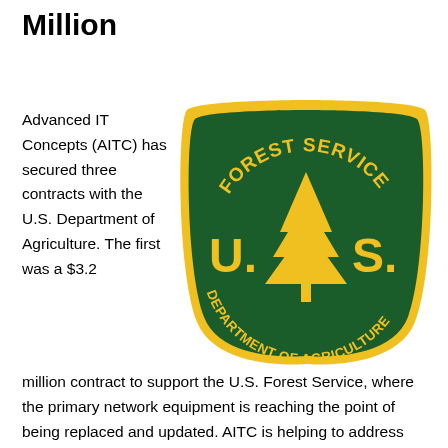Million
Advanced IT Concepts (AITC) has secured three contracts with the U.S. Department of Agriculture. The first was a $3.2
[Figure (logo): U.S. Forest Service shield logo — green shield with yellow border, text 'FOREST SERVICE' at top arc, 'U.S.' with a pine tree in center, 'DEPARTMENT OF AGRICULTURE' along bottom arc, all in yellow on dark green background.]
million contract to support the U.S. Forest Service, where the primary network equipment is reaching the point of being replaced and updated. AITC is helping to address